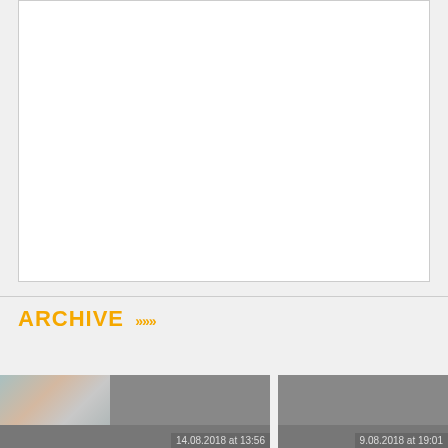[Figure (other): Large white content area box with light grey border, mostly empty/blank]
ARCHIVE >>>
[Figure (photo): Archive card thumbnail image showing a person and interior space, dated 14.08.2018 at 13:56]
[Figure (photo): Archive card grey placeholder, dated 9.08.2018 at 19:01]